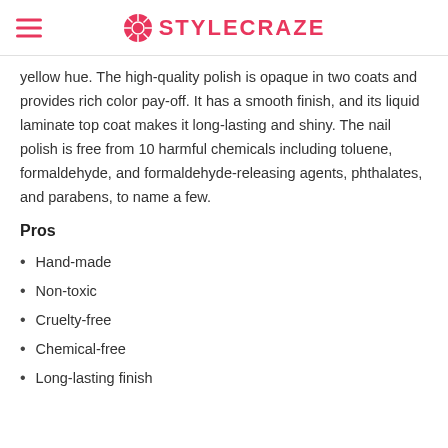STYLECRAZE
yellow hue. The high-quality polish is opaque in two coats and provides rich color pay-off. It has a smooth finish, and its liquid laminate top coat makes it long-lasting and shiny. The nail polish is free from 10 harmful chemicals including toluene, formaldehyde, and formaldehyde-releasing agents, phthalates, and parabens, to name a few.
Pros
Hand-made
Non-toxic
Cruelty-free
Chemical-free
Long-lasting finish